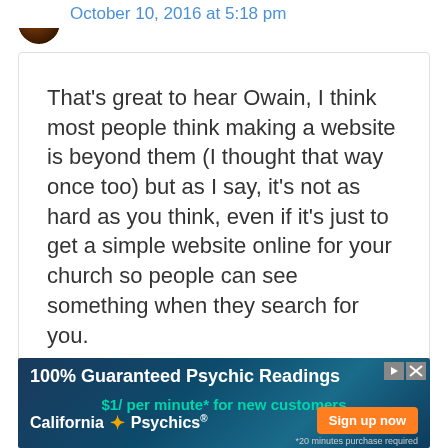October 10, 2016 at 5:18 pm
That's great to hear Owain, I think most people think making a website is beyond them (I thought that way once too) but as I say, it's not as hard as you think, even if it's just to get a simple website online for your church so people can see something when they search for you.
[Figure (infographic): Advertisement banner for California Psychics: '100% Guaranteed Psychic Readings, $1/ per minute* for new customers, California Psychics, Sign up now, *20 minutes purchase required']